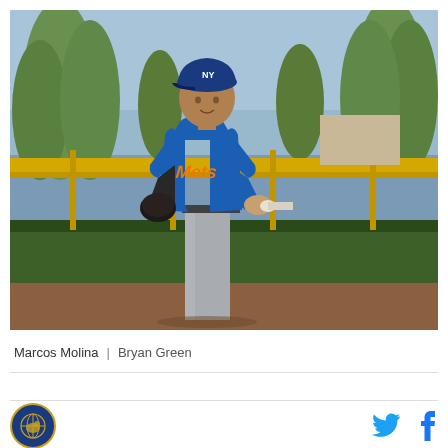[Figure (photo): A baseball player wearing a New York Mets blue uniform and cap, holding a glove and bat handle at a practice facility. Palm trees and green hedges are visible in the background with a yellow fence rail.]
Marcos Molina  |  Bryan Green
[Figure (logo): Circular organization logo with gold border and dark blue background]
[Figure (other): Twitter bird icon in blue]
[Figure (other): Facebook f icon in blue]